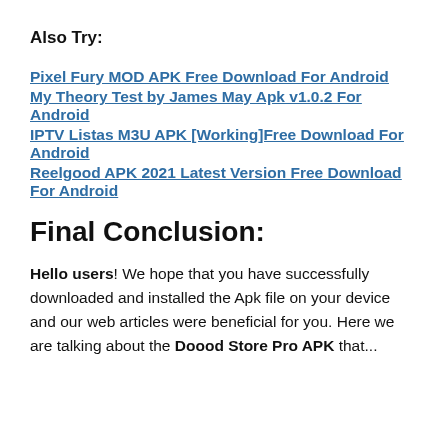Also Try:
Pixel Fury MOD APK Free Download For Android
My Theory Test by James May Apk v1.0.2 For Android
IPTV Listas M3U APK [Working]Free Download For Android
Reelgood APK 2021 Latest Version Free Download For Android
Final Conclusion:
Hello users! We hope that you have successfully downloaded and installed the Apk file on your device and our web articles were beneficial for you. Here we are talking about the Doood Store Pro APK that...